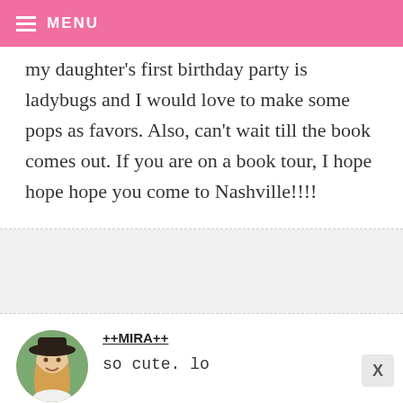MENU
my daughter's first birthday party is ladybugs and I would love to make some pops as favors. Also, can't wait till the book comes out. If you are on a book tour, I hope hope hope you come to Nashville!!!!
++MIRA++
so cute. lo
power-putt girls? those would be so cute
[Figure (photo): Circular avatar photo of a young woman with long blonde hair wearing a black hat, smiling outdoors]